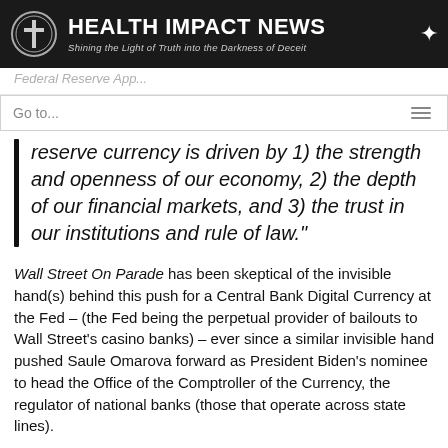[Figure (logo): Health Impact News logo with cross icon and tagline 'Shining the Light of Truth into the Darkness of Deceit']
Federal Reserve App...
Go to...
reserve currency is driven by 1) the strength and openness of our economy, 2) the depth of our financial markets, and 3) the trust in our institutions and rule of law."
Wall Street On Parade has been skeptical of the invisible hand(s) behind this push for a Central Bank Digital Currency at the Fed – (the Fed being the perpetual provider of bailouts to Wall Street's casino banks) – ever since a similar invisible hand pushed Saule Omarova forward as President Biden's nominee to head the Office of the Comptroller of the Currency, the regulator of national banks (those that operate across state lines).
In October of last year, the Vanderbilt Law Review published a 69-page paper by Omarova in which she proposed not just a Central Bank Digital Currency but a